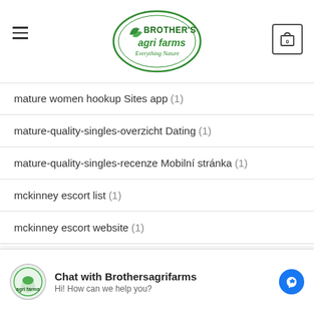Brother's Agri Farms - Everything Nature
mature women hookup Sites app (1)
mature-quality-singles-overzicht Dating (1)
mature-quality-singles-recenze Mobilní stránka (1)
mckinney escort list (1)
mckinney escort website (1)
meddle gratuit (1)
meddle italia (1)
meddle login (1)
Chat with Brothersagrifarms
Hi! How can we help you?